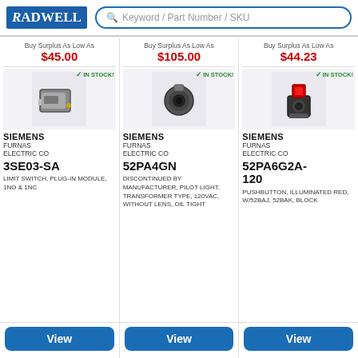[Figure (logo): Radwell logo - blue box with white text]
Keyword / Part Number / SKU
Buy Surplus As Low As $45.00
Buy Surplus As Low As $105.00
Buy Surplus As Low As $44.23
[Figure (photo): Siemens 3SE03-SA limit switch plug-in module]
[Figure (photo): Siemens 52PA4GN pilot light]
[Figure (photo): Siemens 52PA6G2A-120 pushbutton illuminated red]
SIEMENS FURNAS ELECTRIC CO 3SE03-SA LIMIT SWITCH, PLUG-IN MODULE, 1NO & 1NC
SIEMENS FURNAS ELECTRIC CO 52PA4GN DISCONTINUED BY MANUFACTURER, PILOT LIGHT, TRANSFORMER TYPE, 120VAC, WITHOUT LENS, OIL TIGHT
SIEMENS FURNAS ELECTRIC CO 52PA6G2A-120 PUSHBUTTON, ILLUMINATED RED, W/52BAJ, 52BAK, BLOCK
View
View
View